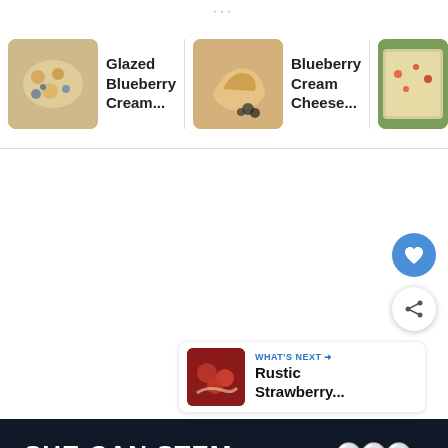[Figure (screenshot): Recipe carousel showing three recipe cards: 'Glazed Blueberry Cream...', 'Blueberry Cream Cheese...', and partially visible 'Cream Chee... Bacon Pa...' with thumbnail images and a right arrow navigation button.]
[Figure (screenshot): White empty content area with blue heart FAB button and white share FAB button on the right side.]
[Figure (screenshot): What's Next card showing 'Rustic Strawberry...' with a food thumbnail image and blue arrow label.]
[Figure (screenshot): Dark banner ad at the bottom reading 'SHE CAN STEM' in bold white text with a WW logo on the right.]